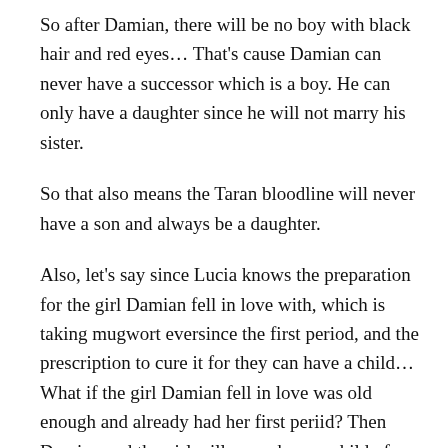So after Damian, there will be no boy with black hair and red eyes… That's cause Damian can never have a successor which is a boy. He can only have a daughter since he will not marry his sister.
So that also means the Taran bloodline will never have a son and always be a daughter.
Also, let's say since Lucia knows the preparation for the girl Damian fell in love with, which is taking mugwort eversince the first period, and the prescription to cure it for they can have a child… What if the girl Damian fell in love was old enough and already had her first periid? Then Damian and the girl will never have a child of their own and thus the end of Taran bloodline considering Damian will be as loyal as Hugo.